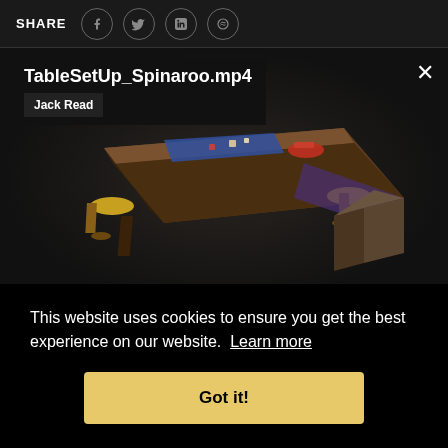SHARE
TableSetUp_Spinaroo.mp4
Jack Read
[Figure (screenshot): 3D rendered scene of a wooden table with game pieces, blue mat, red items on top, stools, and a crate with purple cloth in a dark environment]
This website uses cookies to ensure you get the best experience on our website. Learn more
Got it!